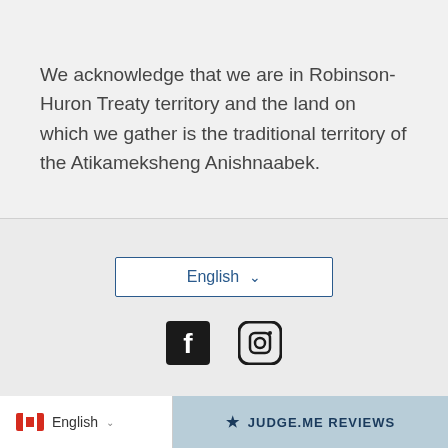We acknowledge that we are in Robinson-Huron Treaty territory and the land on which we gather is the traditional territory of the Atikameksheng Anishnaabek.
[Figure (other): Language selector button showing 'English' with a dropdown chevron, bordered in blue]
[Figure (other): Social media icons: Facebook and Instagram]
[Figure (other): Payment method icons: Amex, Apple Pay, Diners, Discover, Google Pay, Mastercard, PayPal, Shop Pay, Visa]
English | JUDGE.ME REVIEWS